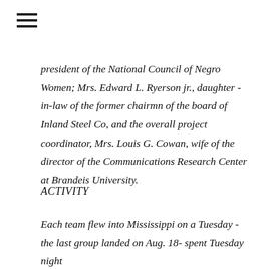[Figure (other): Hamburger menu icon with three horizontal lines]
president of the National Council of Negro Women; Mrs. Edward L. Ryerson jr., daughter -in-law of the former chairmn of the board of Inland Steel Co, and the overall project coordinator, Mrs. Louis G. Cowan, wife of the director of the Communications Research Center at Brandeis University.
ACTIVITY
Each team flew into Mississippi on a Tuesday - the last group landed on Aug. 18- spent Tuesday night